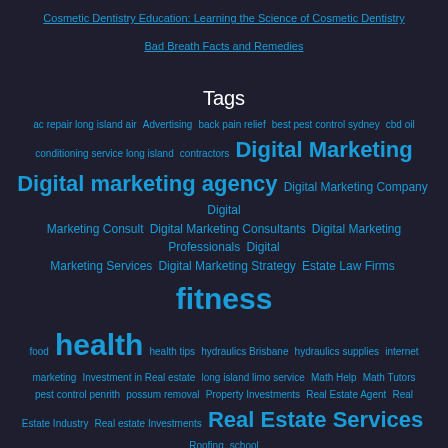Cosmetic Dentistry Education: Learning the Science of Cosmetic Dentistry
Bad Breath Facts and Remedies
Tags
ac repair long island air Advertising back pain relief best pest control sydney cbd oil conditioning service long island contractors Digital Marketing Digital marketing agency Digital Marketing Company Digital Marketing Consult Digital Marketing Consultants Digital Marketing Professionals Digital Marketing Services Digital Marketing Strategy Estate Law Firms fitness food health health tips hydraulics Brisbane hydraulics supplies internet marketing Investment in Real estate long island limo service Math Help Math Tutors pest control penrith possum removal Property Investments Real Estate Agent Real Estate Industry Real estate Investments Real Estate Services Roofing school Search Engine Optimization Sell Home Fast SEO seo services services Small Business Digital Marketing spa wordpress developer melbourne wordpress maintenance service